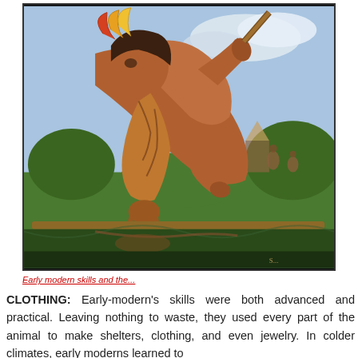[Figure (illustration): A painting/illustration of an early modern human (hunter) carrying game or animal carcass, bent forward and gripping a pole or spear, with a reddish-brown color palette, water reflection visible at the bottom, and background showing trees and other figures.]
Early modern skills and the...
CLOTHING: Early-modern's skills were both advanced and practical. Leaving nothing to waste, they used every part of the animal to make shelters, clothing, and even jewelry. In colder climates, early moderns learned to